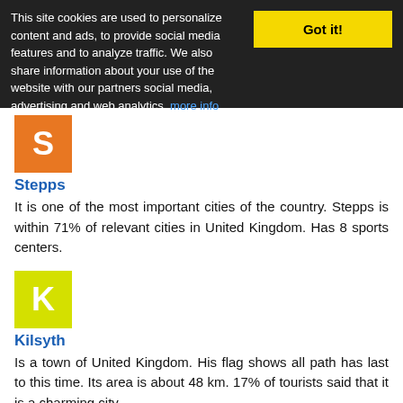This site cookies are used to personalize content and ads, to provide social media features and to analyze traffic. We also share information about your use of the website with our partners social media, advertising and web analytics. more info
Got it!
[Figure (illustration): Orange square icon with letter S]
Stepps
It is one of the most important cities of the country. Stepps is within 71% of relevant cities in United Kingdom. Has 8 sports centers.
[Figure (illustration): Yellow square icon with letter K]
Kilsyth
Is a town of United Kingdom. His flag shows all path has last to this time. Its area is about 48 km. 17% of tourists said that it is a charming city.
[Figure (illustration): Blue square icon with letter B]
Bellshill
It has a population of 20201 citizens. High compared with neighboring cities.